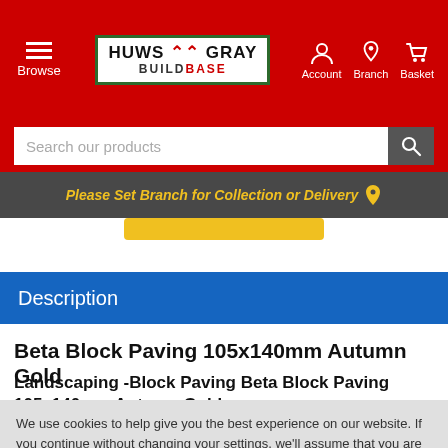Huws Gray Buildbase — Browse | Account | Branch | Basket
Search our products
Please Set Branch for Collection or Delivery
Description
Beta Block Paving 105x140mm Autumn Gold
Landscaping -Block Paving Beta Block Paving 105x140mm Autumn Gold
We use cookies to help give you the best experience on our website. If you continue without changing your settings, we'll assume that you are happy to receive all cookies on the website. However, you can read our Cookie Policy here.
Accept and Continue